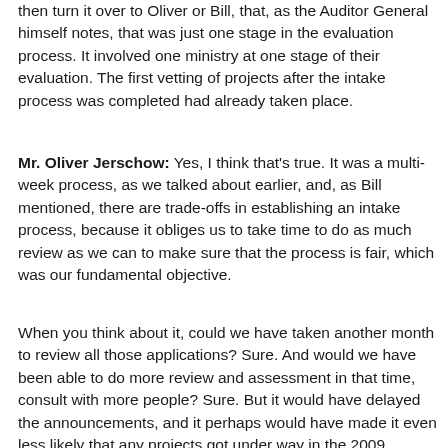then turn it over to Oliver or Bill, that, as the Auditor General himself notes, that was just one stage in the evaluation process. It involved one ministry at one stage of their evaluation. The first vetting of projects after the intake process was completed had already taken place.
Mr. Oliver Jerschow: Yes, I think that's true. It was a multi-week process, as we talked about earlier, and, as Bill mentioned, there are trade-offs in establishing an intake process, because it obliges us to take time to do as much review as we can to make sure that the process is fair, which was our fundamental objective.
When you think about it, could we have taken another month to review all those applications? Sure. And would we have been able to do more review and assessment in that time, consult with more people? Sure. But it would have delayed the announcements, and it perhaps would have made it even less likely that any projects got under way in the 2009 construction season. So that was the